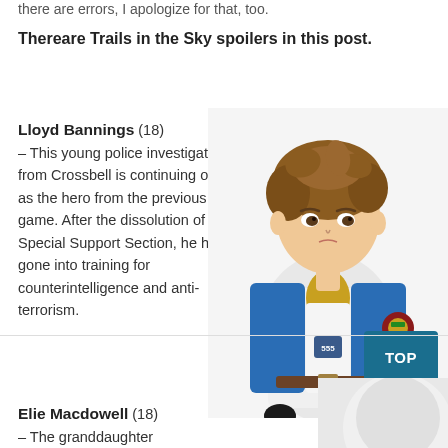there are errors, I apologize for that, too.
Thereare Trails in the Sky spoilers in this post.
Lloyd Bannings (18) – This young police investigator from Crossbell is continuing on as the hero from the previous game. After the dissolution of the Special Support Section, he has gone into training for counterintelligence and anti-terrorism.
[Figure (illustration): Anime illustration of Lloyd Bannings, a young male character with brown hair wearing a blue jacket over a white outfit with a yellow turtleneck and a badge marked 555]
TOP
Elie Macdowell (18) – The granddaughter